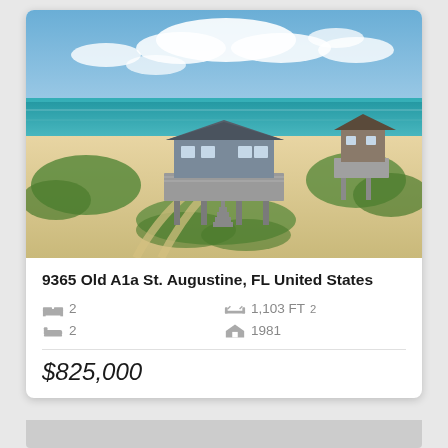[Figure (photo): Aerial view of a beachfront house on sandy dunes with ocean in background, St. Augustine FL]
9365 Old A1a St. Augustine, FL United States
2 bedrooms, 2 bathrooms, 1,103 FT², built 1981
$825,000